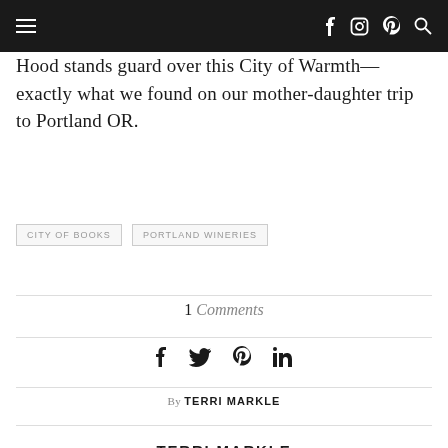Navigation bar with hamburger menu, Facebook, Instagram, Pinterest, Search icons
Hood stands guard over this City of Warmth—exactly what we found on our mother-daughter trip to Portland OR.
CITY OF BOOKS
PORTLAND WINERIES
1 Comments
[Figure (infographic): Social share icons: Facebook, Twitter, Pinterest, LinkedIn]
By TERRI MARKLE
TERRI MARKLE
Terri Markle has some more content here